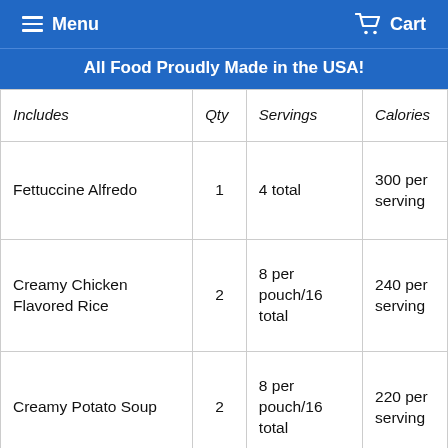Menu  Cart
All Food Proudly Made in the USA!
| Includes | Qty | Servings | Calories |
| --- | --- | --- | --- |
| Fettuccine Alfredo | 1 | 4 total | 300 per serving |
| Creamy Chicken Flavored Rice | 2 | 8 per pouch/16 total | 240 per serving |
| Creamy Potato Soup | 2 | 8 per pouch/16 total | 220 per serving |
| H... |  |  |  |